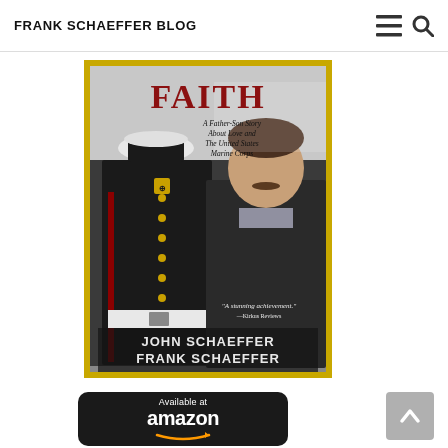FRANK SCHAEFFER BLOG
[Figure (photo): Book cover of 'Faith: A Father-Son Story About Love and The United States Marine Corps' by John Schaeffer and Frank Schaeffer. Shows a Marine in dress uniform and a civilian man. Has a gold border, red title text, and quote 'A stunning achievement.' —Kirkus Reviews at the bottom.]
[Figure (logo): Available at Amazon button - black rounded rectangle with white text 'Available at' and 'amazon' with Amazon smile arrow in orange.]